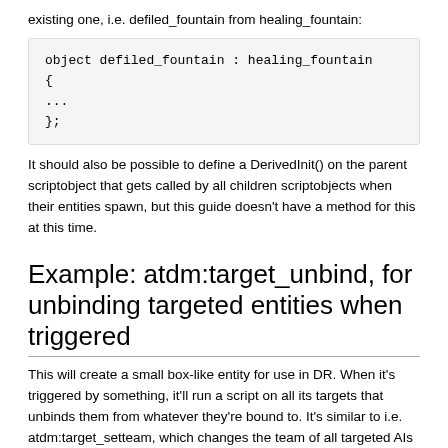existing one, i.e. defiled_fountain from healing_fountain:
object defiled_fountain : healing_fountain
{
...
};
It should also be possible to define a DerivedInit() on the parent scriptobject that gets called by all children scriptobjects when their entities spawn, but this guide doesn't have a method for this at this time.
Example: atdm:target_unbind, for unbinding targeted entities when triggered
This will create a small box-like entity for use in DR. When it's triggered by something, it'll run a script on all its targets that unbinds them from whatever they're bound to. It's similar to i.e. atdm:target_setteam, which changes the team of all targeted AIs when it's triggered.
The script
As an example, this script could be stored in tdm_target_unbind.script in the script folder, and #included in tdm_custom_scripts.script.